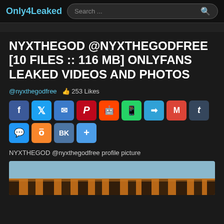Only4Leaked  Search ...
NYXTHEGOD @NYXTHEGODFREE [10 FILES :: 116 MB] ONLYFANS LEAKED VIDEOS AND PHOTOS
@nyxthegodfree  👍 253 Likes
[Figure (infographic): Social share buttons: Facebook, Twitter, Email, Pinterest, Reddit, WhatsApp, Telegram, Gmail, Tumblr, Messenger, OK, VK, More]
NYXTHEGOD @nyxthegodfree profile picture
[Figure (photo): A tiger photo, showing orange and black striped fur with a blue-grey sky background]